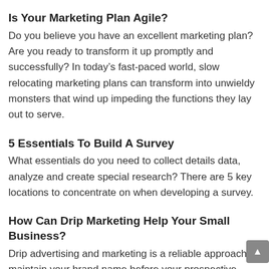Is Your Marketing Plan Agile?
Do you believe you have an excellent marketing plan? Are you ready to transform it up promptly and successfully? In today's fast-paced world, slow relocating marketing plans can transform into unwieldy monsters that wind up impeding the functions they lay out to serve.
5 Essentials To Build A Survey
What essentials do you need to collect details data, analyze and create special research? There are 5 key locations to concentrate on when developing a survey.
How Can Drip Marketing Help Your Small Business?
Drip advertising and marketing is a reliable approach to maintain your brand name before your prospective consu...s